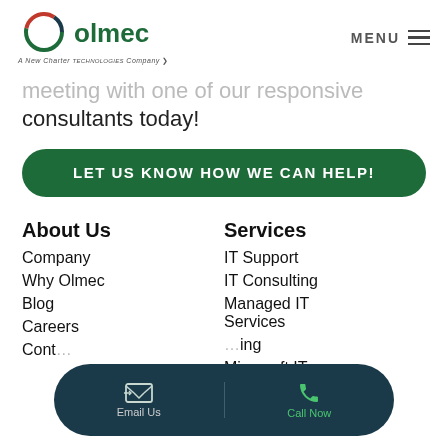olmec — A New Charter Technologies Company | MENU
meeting with one of our responsive consultants today!
LET US KNOW HOW WE CAN HELP!
About Us
Company
Why Olmec
Blog
Careers
Cont…
Services
IT Support
IT Consulting
Managed IT Services
…ing
Microsoft IT
Email Us | Call Now